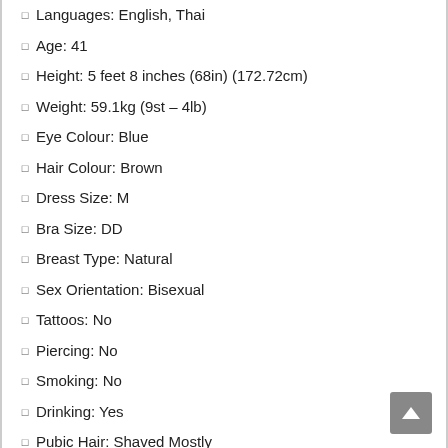Languages: English, Thai
Age: 41
Height: 5 feet 8 inches (68in) (172.72cm)
Weight: 59.1kg (9st – 4lb)
Eye Colour: Blue
Hair Colour: Brown
Dress Size: M
Bra Size: DD
Breast Type: Natural
Sex Orientation: Bisexual
Tattoos: No
Piercing: No
Smoking: No
Drinking: Yes
Pubic Hair: Shaved Mostly